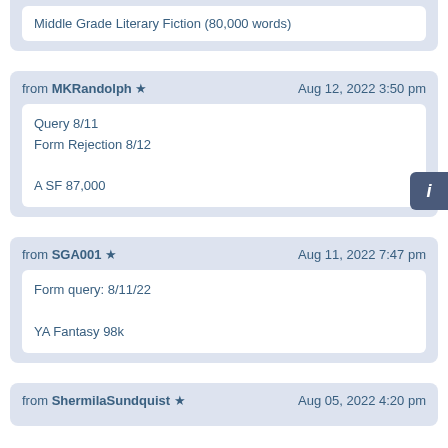Middle Grade Literary Fiction (80,000 words)
from MKRandolph ★    Aug 12, 2022 3:50 pm
Query 8/11
Form Rejection 8/12

A SF 87,000
from SGA001 ★    Aug 11, 2022 7:47 pm
Form query: 8/11/22

YA Fantasy 98k
from ShermilaSundquist ★    Aug 05, 2022 4:20 pm